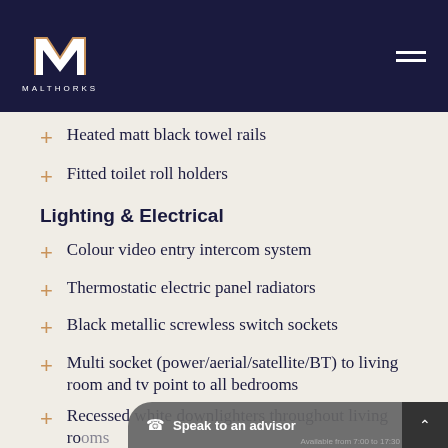MALTHORKS
Heated matt black towel rails
Fitted toilet roll holders
Lighting & Electrical
Colour video entry intercom system
Thermostatic electric panel radiators
Black metallic screwless switch sockets
Multi socket (power/aerial/satellite/BT) to living room and tv point to all bedrooms
Recessed white downlighters throughout living rooms and kitchens with pendants to bedrooms